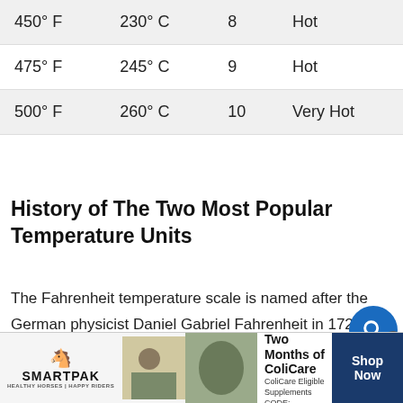| 450° F | 230° C | 8 | Hot |
| 475° F | 245° C | 9 | Hot |
| 500° F | 260° C | 10 | Very Hot |
History of The Two Most Popular Temperature Units
The Fahrenheit temperature scale is named after the German physicist Daniel Gabriel Fahrenheit in 1724 and was originally used for temperature measurement through mercury thermometers that he invented himself.
[Figure (other): SmartPak advertisement banner: 50% Off Two Months of ColiCare, ColiCare Eligible Supplements, CODE: COLICARE10, with Shop Now button]